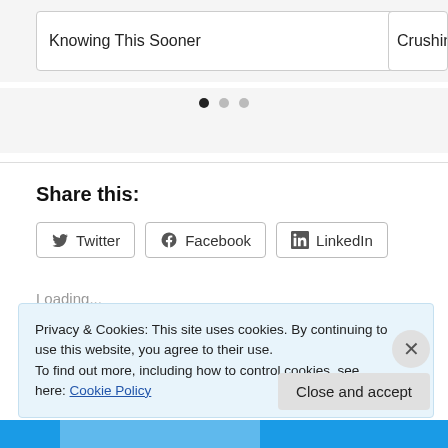Knowing This Sooner
Crushing
[Figure (other): Carousel navigation dots: one filled black dot and two grey dots]
Share this:
[Figure (other): Three share buttons: Twitter, Facebook, LinkedIn with icons]
Loading...
Privacy & Cookies: This site uses cookies. By continuing to use this website, you agree to their use.
To find out more, including how to control cookies, see here: Cookie Policy
Close and accept